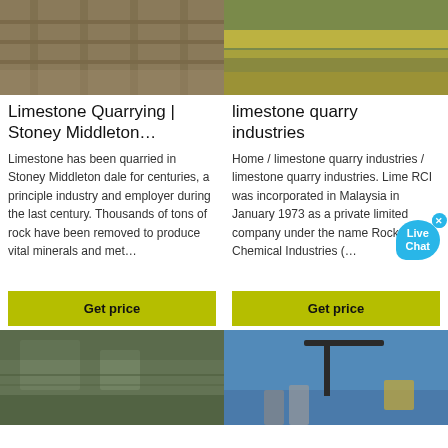[Figure (photo): Limestone quarrying industrial machinery and equipment at Stoney Middleton]
Limestone Quarrying | Stoney Middleton…
Limestone has been quarried in Stoney Middleton dale for centuries, a principle industry and employer during the last century. Thousands of tons of rock have been removed to produce vital minerals and met…
[Figure (photo): Yellow conveyor belt machinery at limestone quarry]
limestone quarry industries
Home / limestone quarry industries / limestone quarry industries. Lime RCI was incorporated in Malaysia in January 1973 as a private limited company under the name Rock Chemical Industries (…
[Figure (photo): Aerial view of limestone quarry industrial site]
[Figure (photo): Industrial quarry conveyor and processing plant against blue sky]